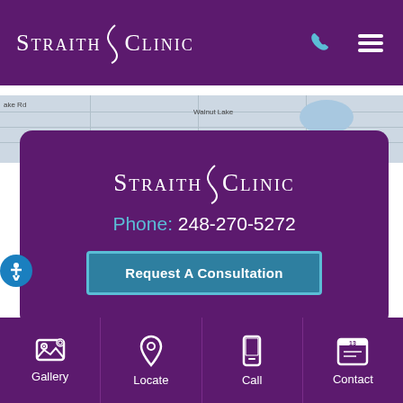Straith Clinic
[Figure (map): Street map showing Walnut Lake area]
Straith Clinic
Phone: 248-270-5272
Request A Consultation
Gallery
Locate
Call
Contact